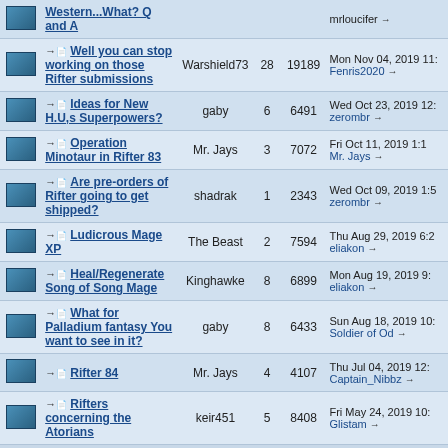|  | Topic | Author | Replies | Views | Last Post |
| --- | --- | --- | --- | --- | --- |
|  | Western...What? Q and A |  |  |  | mrloucifer → |
|  | → Well you can stop working on those Rifter submissions | Warshield73 | 28 | 19189 | Mon Nov 04, 2019 11: Fenris2020 → |
|  | → Ideas for New H.U,s Superpowers? | gaby | 6 | 6491 | Wed Oct 23, 2019 12: zerombr → |
|  | → Operation Minotaur in Rifter 83 | Mr. Jays | 3 | 7072 | Fri Oct 11, 2019 1:1 Mr. Jays → |
|  | → Are pre-orders of Rifter going to get shipped? | shadrak | 1 | 2343 | Wed Oct 09, 2019 1:5 zerombr → |
|  | → Ludicrous Mage XP | The Beast | 2 | 7594 | Thu Aug 29, 2019 6:2 eliakon → |
|  | → Heal/Regenerate Song of Song Mage | Kinghawke | 8 | 6899 | Mon Aug 19, 2019 9: eliakon → |
|  | → What for Palladium fantasy You want to see in it? | gaby | 8 | 6433 | Sun Aug 18, 2019 10: Soldier of Od → |
|  | → Rifter 84 | Mr. Jays | 4 | 4107 | Thu Jul 04, 2019 12: Captain_Nibbz → |
|  | → Rifters concerning the Atorians | keir451 | 5 | 8408 | Fri May 24, 2019 10: Glistam → |